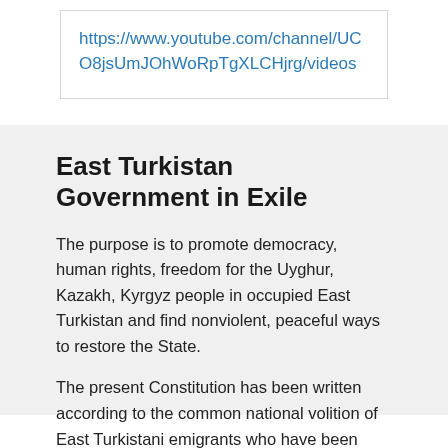https://www.youtube.com/channel/UCO8jsUmJOhWoRpTgXLCHjrg/videos
East Turkistan Government in Exile
The purpose is to promote democracy, human rights, freedom for the Uyghur, Kazakh, Kyrgyz people in occupied East Turkistan and find nonviolent, peaceful ways to restore the State.
The present Constitution has been written according to the common national volition of East Turkistani emigrants who have been living in exile since the occupation of East Turkistan by Communist China in October 1949. The Constitution aims to provide a measure to ensure that the people of East Turkistan and their children live in liberty and